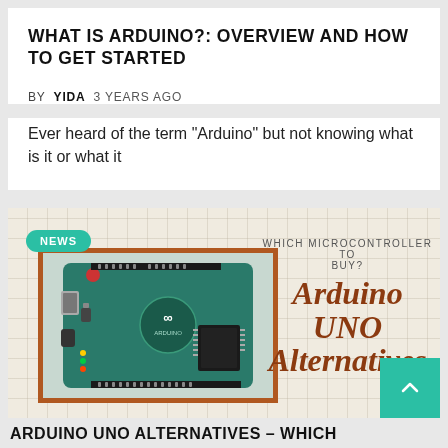WHAT IS ARDUINO?: OVERVIEW AND HOW TO GET STARTED
BY YIDA   3 YEARS AGO
Ever heard of the term “Arduino” but not knowing what is it or what it
[Figure (photo): Arduino UNO board in a clear acrylic case, photographed from above at an angle, showing the microcontroller board with USB port, power connectors, and headers. Orange border frame around the image. Green 'NEWS' badge in top left corner. Text on right side reads 'WHICH MICROCONTROLLER TO BUY?' and 'Arduino UNO Alternatives' in large serif italic font. Teal scroll-to-top button in bottom right.]
ARDUINO UNO ALTERNATIVES – WHICH